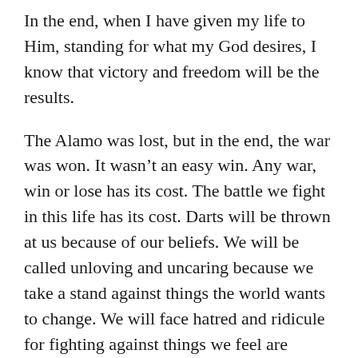In the end, when I have given my life to Him, standing for what my God desires, I know that victory and freedom will be the results.
The Alamo was lost, but in the end, the war was won. It wasn't an easy win. Any war, win or lose has its cost. The battle we fight in this life has its cost. Darts will be thrown at us because of our beliefs. We will be called unloving and uncaring because we take a stand against things the world wants to change. We will face hatred and ridicule for fighting against things we feel are contrary to the Word.
When I am called to conform to the things contrary to God's will I will hold to my conviction, “Choose this day whom you will serve, but as for me and my house, we will serve the Lord.”